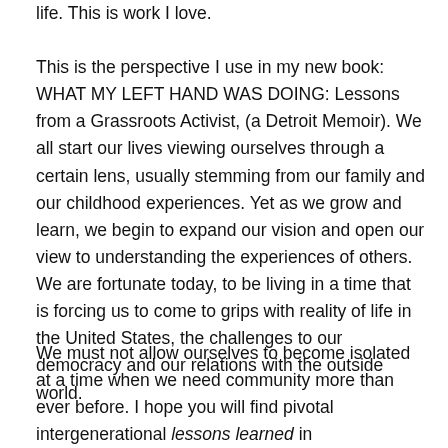life. This is work I love.
This is the perspective I use in my new book: WHAT MY LEFT HAND WAS DOING: Lessons from a Grassroots Activist, (a Detroit Memoir). We all start our lives viewing ourselves through a certain lens, usually stemming from our family and our childhood experiences. Yet as we grow and learn, we begin to expand our vision and open our view to understanding the experiences of others. We are fortunate today, to be living in a time that is forcing us to come to grips with reality of life in the United States, the challenges to our democracy and our relations with the outside world.
We must not allow ourselves to become isolated at a time when we need community more than ever before. I hope you will find pivotal intergenerational lessons learned in